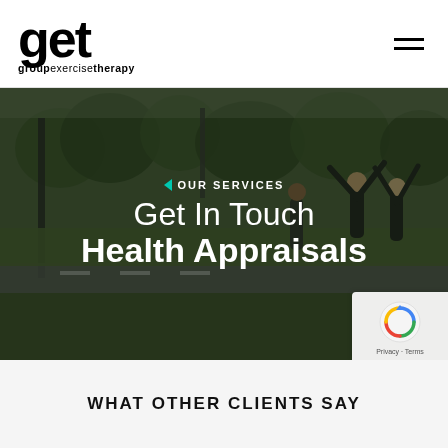[Figure (logo): GET group exercise therapy logo — bold black 'get' with tagline 'groupexercisetherapy' in mixed weight text]
[Figure (photo): Outdoor park scene with people exercising, raising hands, doing group fitness activity. Dark overlay with green grass and trees in background.]
OUR SERVICES
Get In Touch Health Appraisals
WHAT OTHER CLIENTS SAY